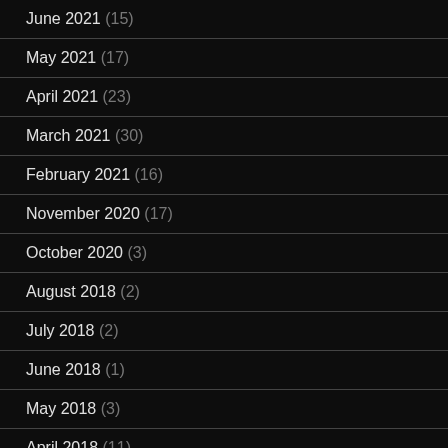June 2021 (15)
May 2021 (17)
April 2021 (23)
March 2021 (30)
February 2021 (16)
November 2020 (17)
October 2020 (3)
August 2018 (2)
July 2018 (2)
June 2018 (1)
May 2018 (3)
April 2018 (11)